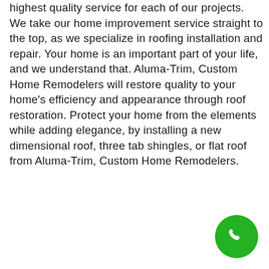highest quality service for each of our projects. We take our home improvement service straight to the top, as we specialize in roofing installation and repair. Your home is an important part of your life, and we understand that. Aluma-Trim, Custom Home Remodelers will restore quality to your home's efficiency and appearance through roof restoration. Protect your home from the elements while adding elegance, by installing a new dimensional roof, three tab shingles, or flat roof from Aluma-Trim, Custom Home Remodelers.
[Figure (other): Green circular phone/call button icon in the bottom-right corner]